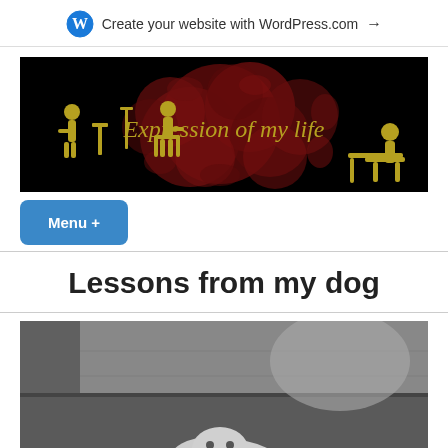Create your website with WordPress.com →
[Figure (logo): Expression of my life blog banner with black background, dark red decorative pattern, yellow silhouette figures dining and at computer, yellow italic text reading 'Expression of my life']
Menu +
Lessons from my dog
[Figure (photo): Black and white photograph of a dog resting on a leather couch/sofa, viewed from above, dog's head visible at bottom center]